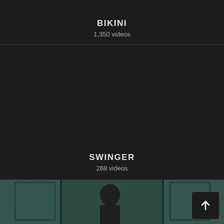BIKINI
1,350 videos
[Figure (other): Dark background card for SWINGER category]
SWINGER
268 videos
[Figure (photo): Video thumbnail showing figures in a teal/marble bathroom setting with mirrors, with an upward arrow button in the bottom right corner]